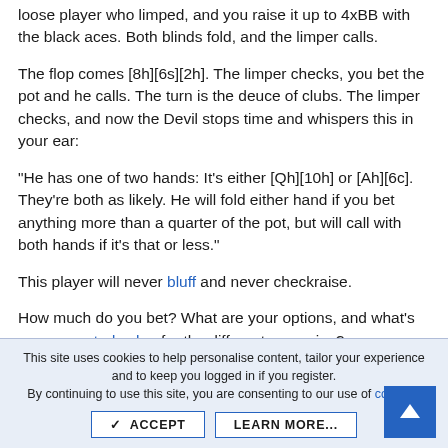loose player who limped, and you raise it up to 4xBB with the black aces. Both blinds fold, and the limper calls.
The flop comes [8h][6s][2h]. The limper checks, you bet the pot and he calls. The turn is the deuce of clubs. The limper checks, and now the Devil stops time and whispers this in your ear:
"He has one of two hands: It's either [Qh][10h] or [Ah][6c]. They're both as likely. He will fold either hand if you bet anything more than a quarter of the pot, but will call with both hands if it's that or less."
This player will never bluff and never checkraise.
How much do you bet? What are your options, and what's your expected value for the different scenarios?
This site uses cookies to help personalise content, tailor your experience and to keep you logged in if you register. By continuing to use this site, you are consenting to our use of cookies.